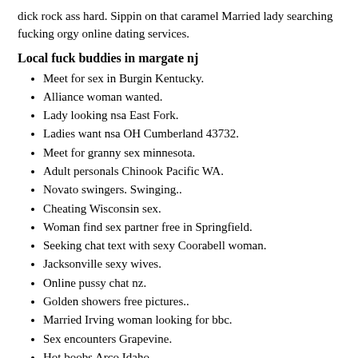dick rock ass hard. Sippin on that caramel Married lady searching fucking orgy online dating services.
Local fuck buddies in margate nj
Meet for sex in Burgin Kentucky.
Alliance woman wanted.
Lady looking nsa East Fork.
Ladies want nsa OH Cumberland 43732.
Meet for granny sex minnesota.
Adult personals Chinook Pacific WA.
Novato swingers. Swinging..
Cheating Wisconsin sex.
Woman find sex partner free in Springfield.
Seeking chat text with sexy Coorabell woman.
Jacksonville sexy wives.
Online pussy chat nz.
Golden showers free pictures..
Married Irving woman looking for bbc.
Sex encounters Grapevine.
Hot boobs Arco Idaho.
Swingers club in Switzerland.
email: uiclsafliz@gmail.com - phone:(133) 251-8742 x 9532